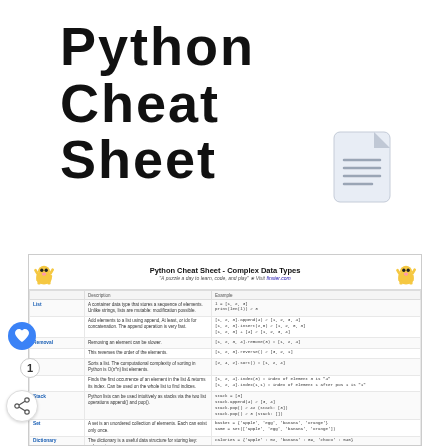Python Cheat Sheet
[Figure (illustration): Document/file icon with lines representing text, light gray background rounded rectangle]
[Figure (screenshot): Python Cheat Sheet - Complex Data Types reference table showing List, Set, Dictionary etc with Description and Example columns, flanked by cartoon hamster mascots]
[Figure (illustration): Blue circular heart/like button UI element]
1
[Figure (illustration): Share button UI element with share icon]